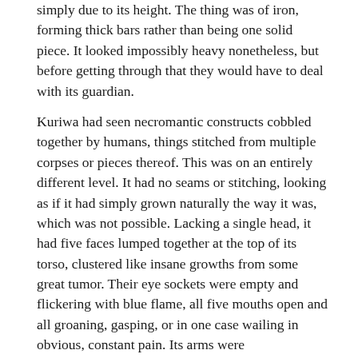simply due to its height. The thing was of iron, forming thick bars rather than being one solid piece. It looked impossibly heavy nonetheless, but before getting through that they would have to deal with its guardian.
Kuriwa had seen necromantic constructs cobbled together by humans, things stitched from multiple corpses or pieces thereof. This was on an entirely different level. It had no seams or stitching, looking as if it had simply grown naturally the way it was, which was not possible. Lacking a single head, it had five faces lumped together at the top of its torso, clustered like insane growths from some great tumor. Their eye sockets were empty and flickering with blue flame, all five mouths open and all groaning, gasping, or in one case wailing in obvious, constant pain. Its arms were disconcertingly normal in appearance, but below the torso was a huge swollen thorax like a spider's—except that the bulbous body was covered in enormous blisters and pustules, all lit faintly from within by the same blue lichfire